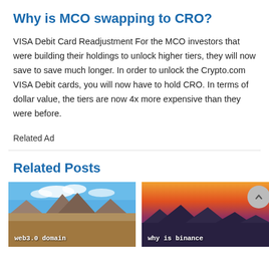Why is MCO swapping to CRO?
VISA Debit Card Readjustment For the MCO investors that were building their holdings to unlock higher tiers, they will now save to save much longer. In order to unlock the Crypto.com VISA Debit cards, you will now have to hold CRO. In terms of dollar value, the tiers are now 4x more expensive than they were before.
Related Ad
Related Posts
[Figure (photo): Mountain landscape with blue sky and rocky peaks, text overlay reading 'web3.0 domain']
[Figure (photo): Mountain silhouette at sunset with warm orange and purple sky, text overlay reading 'why is binance']